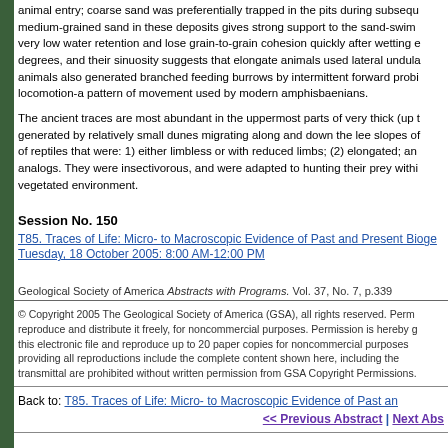animal entry; coarse sand was preferentially trapped in the pits during subsequent medium-grained sand in these deposits gives strong support to the sand-swim very low water retention and lose grain-to-grain cohesion quickly after wetting degrees, and their sinuosity suggests that elongate animals used lateral undula animals also generated branched feeding burrows by intermittent forward probi locomotion-a pattern of movement used by modern amphisbaenians.
The ancient traces are most abundant in the uppermost parts of very thick (up generated by relatively small dunes migrating along and down the lee slopes of reptiles that were: 1) either limbless or with reduced limbs; (2) elongated; an analogs. They were insectivorous, and were adapted to hunting their prey withi vegetated environment.
Session No. 150
T85. Traces of Life: Micro- to Macroscopic Evidence of Past and Present Bioge Tuesday, 18 October 2005: 8:00 AM-12:00 PM
Geological Society of America Abstracts with Programs. Vol. 37, No. 7, p.339
© Copyright 2005 The Geological Society of America (GSA), all rights reserved. Permission is hereby granted to the author(s) of this abstract to reproduce and distribute it freely, for noncommercial purposes. Permission is hereby granted to any individual scientist to download a single copy of this electronic file and reproduce up to 20 paper copies for noncommercial purposes advancing science and education, including classroom use, providing all reproductions include the complete content shown here, including the author information. All other forms of reproduction and/or transmittal are prohibited without written permission from GSA Copyright Permissions.
Back to: T85. Traces of Life: Micro- to Macroscopic Evidence of Past an
<< Previous Abstract | Next Abs